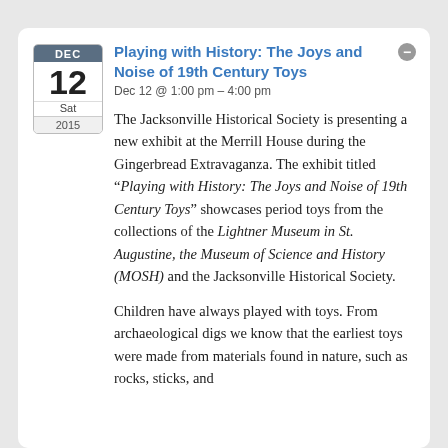Playing with History: The Joys and Noise of 19th Century Toys
Dec 12 @ 1:00 pm – 4:00 pm
The Jacksonville Historical Society is presenting a new exhibit at the Merrill House during the Gingerbread Extravaganza. The exhibit titled “Playing with History: The Joys and Noise of 19th Century Toys” showcases period toys from the collections of the Lightner Museum in St. Augustine, the Museum of Science and History (MOSH) and the Jacksonville Historical Society.
Children have always played with toys. From archaeological digs we know that the earliest toys were made from materials found in nature, such as rocks, sticks, and